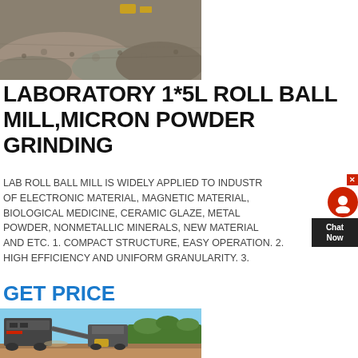[Figure (photo): Aerial or ground-level photo of a mining/quarry site with grey rock/gravel piles and yellow equipment in background]
LABORATORY 1*5L ROLL BALL MILL,MICRON POWDER GRINDING
LAB ROLL BALL MILL IS WIDELY APPLIED TO INDUSTRIES OF ELECTRONIC MATERIAL, MAGNETIC MATERIAL, BIOLOGICAL MEDICINE, CERAMIC GLAZE, METAL POWDER, NONMETALLIC MINERALS, NEW MATERIAL AND ETC. 1. COMPACT STRUCTURE, EASY OPERATION. 2. HIGH EFFICIENCY AND UNIFORM GRANULARITY. 3.
GET PRICE
[Figure (photo): Photo of large mobile crushing/mining equipment on a construction/quarry site with blue sky and trees in background]